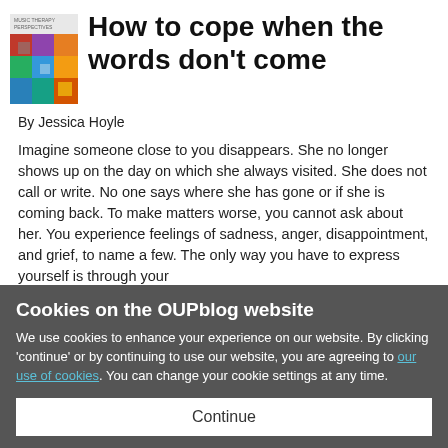[Figure (illustration): Journal cover for Music Therapy Perspectives with colorful abstract squares/blocks design]
How to cope when the words don't come
By Jessica Hoyle
Imagine someone close to you disappears. She no longer shows up on the day on which she always visited. She does not call or write. No one says where she has gone or if she is coming back. To make matters worse, you cannot ask about her. You experience feelings of sadness, anger, disappointment, and grief, to name a few. The only way you have to express yourself is through your
Cookies on the OUPblog website
We use cookies to enhance your experience on our website. By clicking 'continue' or by continuing to use our website, you are agreeing to our use of cookies. You can change your cookie settings at any time.
Continue